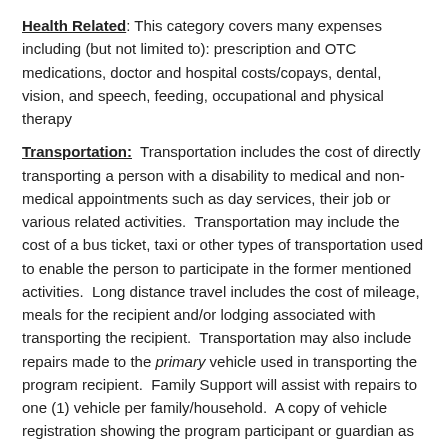Health Related: This category covers many expenses including (but not limited to): prescription and OTC medications, doctor and hospital costs/copays, dental, vision, and speech, feeding, occupational and physical therapy
Transportation: Transportation includes the cost of directly transporting a person with a disability to medical and non-medical appointments such as day services, their job or various related activities. Transportation may include the cost of a bus ticket, taxi or other types of transportation used to enable the person to participate in the former mentioned activities. Long distance travel includes the cost of mileage, meals for the recipient and/or lodging associated with transporting the recipient. Transportation may also include repairs made to the primary vehicle used in transporting the program recipient. Family Support will assist with repairs to one (1) vehicle per family/household. A copy of vehicle registration showing the program participant or guardian as owner is required for reimbursement requests of car repairs. Repairs must be made via a verifiable business.